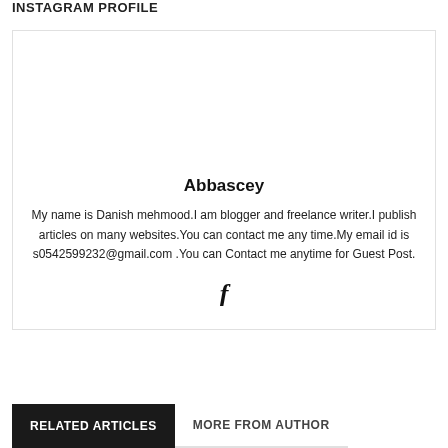INSTAGRAM PROFILE
Abbascey
My name is Danish mehmood.I am blogger and freelance writer.I publish articles on many websites.You can contact me any time.My email id is s0542599232@gmail.com .You can Contact me anytime for Guest Post.
[Figure (logo): Facebook icon (letter f)]
RELATED ARTICLES
MORE FROM AUTHOR